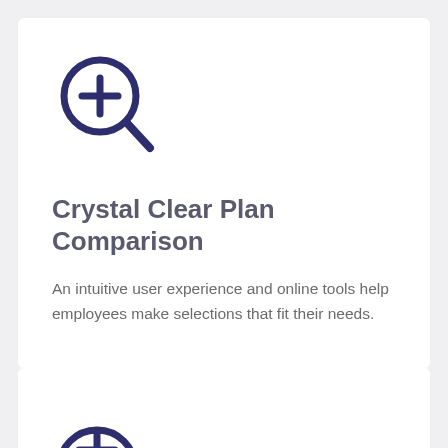[Figure (illustration): Magnifying glass with a plus sign icon, dark navy/indigo outline style]
Crystal Clear Plan Comparison
An intuitive user experience and online tools help employees make selections that fit their needs.
[Figure (illustration): Partial view of another icon at the bottom of the page, dark navy circle with a plus or similar symbol, partially cropped]